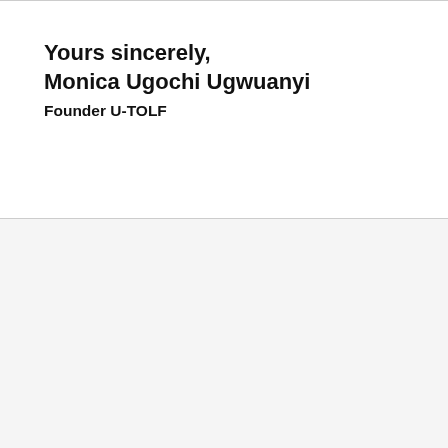Yours sincerely,
Monica Ugochi Ugwuanyi
Founder U-TOLF
Contact
Plot 72 WTC Estate, New layout Enugu
+234 908 711 7324
info@u-tolf.org
Quick Links